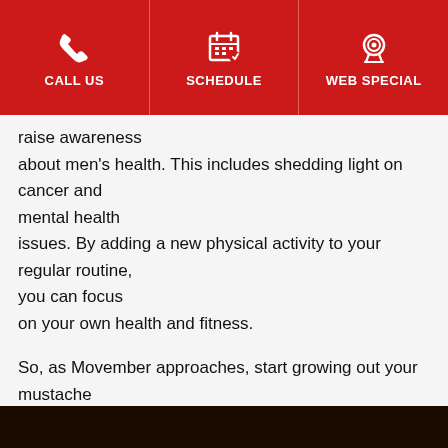CALL US | SCHEDULE | WEB SPECIAL
raise awareness about men's health. This includes shedding light on cancer and mental health issues. By adding a new physical activity to your regular routine, you can focus on your own health and fitness.
So, as Movember approaches, start growing out your mustache and sign up for a men's martial arts class. If you cannot find a local class, there are also plenty of videos and online resources that can help you get started.